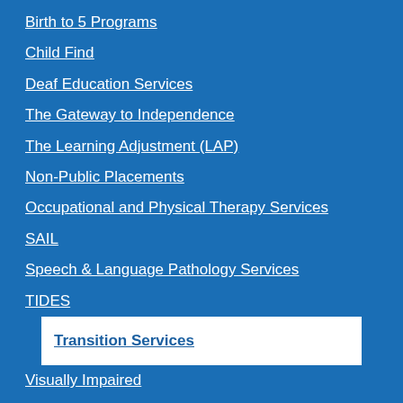Birth to 5 Programs
Child Find
Deaf Education Services
The Gateway to Independence
The Learning Adjustment (LAP)
Non-Public Placements
Occupational and Physical Therapy Services
SAIL
Speech & Language Pathology Services
TIDES
Transition Services
Visually Impaired